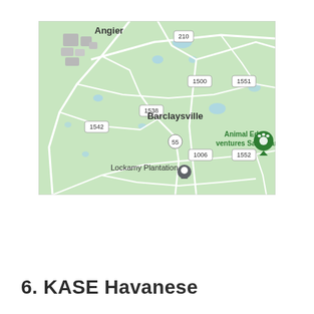[Figure (map): Google Maps screenshot showing rural area around Barclaysville, NC with road numbers 1500, 1551, 1538, 1542, 1006, 1552, route 55, route 210, Angier to the north, Lockamy Plantation with a location pin, and Animal Ed. ventures Sanctuary marker in green.]
6. KASE Havanese